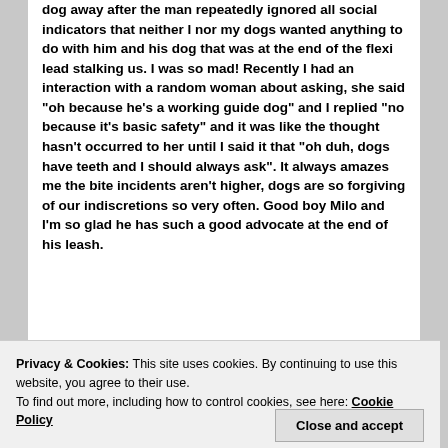dog away after the man repeatedly ignored all social indicators that neither I nor my dogs wanted anything to do with him and his dog that was at the end of the flexi lead stalking us. I was so mad! Recently I had an interaction with a random woman about asking, she said "oh because he's a working guide dog" and I replied "no because it's basic safety" and it was like the thought hasn't occurred to her until I said it that "oh duh, dogs have teeth and I should always ask". It always amazes me the bite incidents aren't higher, dogs are so forgiving of our indiscretions so very often. Good boy Milo and I'm so glad he has such a good advocate at the end of his leash.
Privacy & Cookies: This site uses cookies. By continuing to use this website, you agree to their use. To find out more, including how to control cookies, see here: Cookie Policy
Close and accept